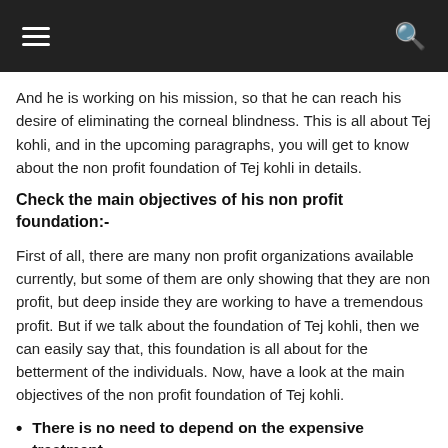≡  [hamburger menu]  [search icon]
And he is working on his mission, so that he can reach his desire of eliminating the corneal blindness. This is all about Tej kohli, and in the upcoming paragraphs, you will get to know about the non profit foundation of Tej kohli in details.
Check the main objectives of his non profit foundation:-
First of all, there are many non profit organizations available currently, but some of them are only showing that they are non profit, but deep inside they are working to have a tremendous profit. But if we talk about the foundation of Tej kohli, then we can easily say that, this foundation is all about for the betterment of the individuals. Now, have a look at the main objectives of the non profit foundation of Tej kohli.
There is no need to depend on the expensive treatment
As it is mentioned above, that this foundation works for the welfare of individuals, that is why the main objective of this foundation is that you do not need to rely on the expensive treatment, because when it